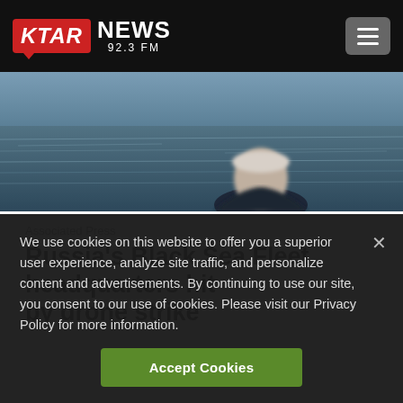KTAR NEWS 92.3 FM
[Figure (photo): Hero image showing a person from behind looking out at water, blurred background of ocean or sea]
Associated Press
Russia's Black Sea Fleet headquarters hit by drone strike
We use cookies on this website to offer you a superior user experience, analyze site traffic, and personalize content and advertisements. By continuing to use our site, you consent to our use of cookies. Please visit our Privacy Policy for more information.
Accept Cookies